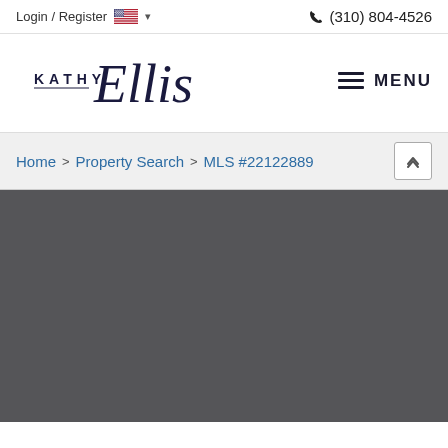Login / Register | (310) 804-4526
[Figure (logo): Kathy Ellis real estate logo in dark navy cursive script with KATHY in small caps and Ellis in large flowing script]
MENU
Home > Property Search > MLS #22122889
[Figure (photo): Dark gray placeholder area for property photo]